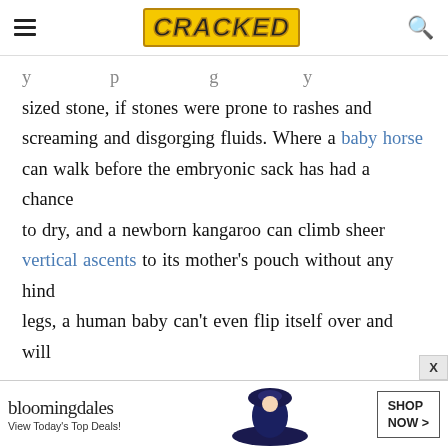CRACKED
sized stone, if stones were prone to rashes and screaming and disgorging fluids. Where a baby horse can walk before the embryonic sack has had a chance to dry, and a newborn kangaroo can climb sheer vertical ascents to its mother's pouch without any hind legs, a human baby can't even flip itself over and will occasionally try to claw its own face off. Babies are simply not prepared for the world when they arrive, and it's up to parents to make sure they stay clean, their brains stay un-poked through their ill-formed
[Figure (other): Bloomingdale's advertisement banner: 'View Today's Top Deals!' with a woman wearing a wide-brim hat and a SHOP NOW > button]